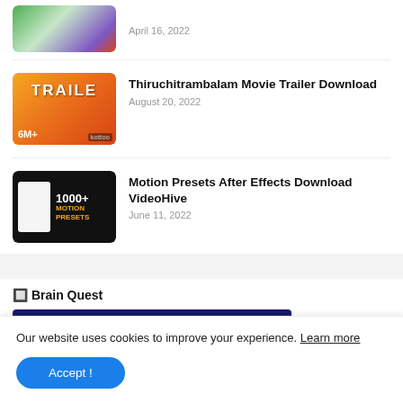[Figure (screenshot): Partial article thumbnail (cropped at top) with colorful graphic and April 16, 2022 date]
April 16, 2022
[Figure (photo): Thiruchitrambalam movie trailer thumbnail showing motorcycle rider with 6M+ views and TRAILE text]
Thiruchitrambalam Movie Trailer Download
August 20, 2022
[Figure (screenshot): 1000+ Motion Presets thumbnail with dark background and orange text]
Motion Presets After Effects Download VideoHive
June 11, 2022
🔲 Brain Quest
[Figure (screenshot): Dark blue Brain Quest banner image (partially visible)]
Our website uses cookies to improve your experience. Learn more
Accept !